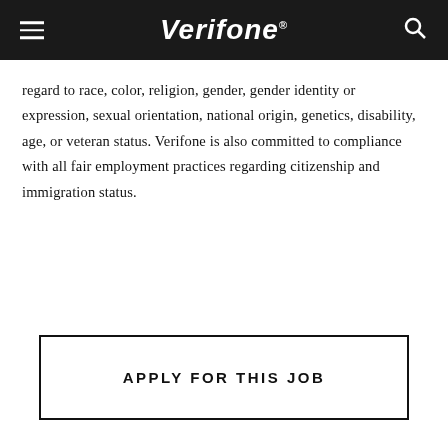Verifone
regard to race, color, religion, gender, gender identity or expression, sexual orientation, national origin, genetics, disability, age, or veteran status. Verifone is also committed to compliance with all fair employment practices regarding citizenship and immigration status.
APPLY FOR THIS JOB